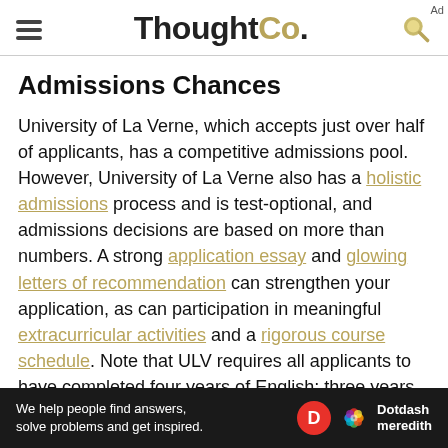ThoughtCo.
Admissions Chances
University of La Verne, which accepts just over half of applicants, has a competitive admissions pool. However, University of La Verne also has a holistic admissions process and is test-optional, and admissions decisions are based on more than numbers. A strong application essay and glowing letters of recommendation can strengthen your application, as can participation in meaningful extracurricular activities and a rigorous course schedule. Note that ULV requires all applicants to have completed four years of English; three years of social science; two years of science, including one with a lab; and mathematics level algebra II or above. All
[Figure (other): Dotdash Meredith advertisement banner: We help people find answers, solve problems and get inspired.]